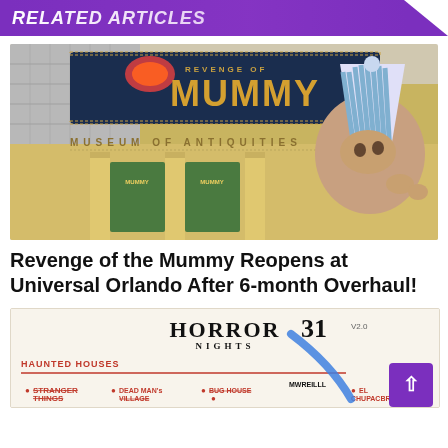RELATED ARTICLES
[Figure (photo): Photo of a person wearing a striped blue and white elf hat in front of the Revenge of the Mummy ride entrance at Universal Orlando, showing the Museum of Antiquities building facade with golden columns and the dark Mummy sign overhead.]
Revenge of the Mummy Reopens at Universal Orlando After 6-month Overhaul!
[Figure (photo): Bottom portion of a Horror Nights 31 map or guide showing haunted houses list including Stranger Things, Dead Man's Village, Bug House, and El Chupacabra, with a blue marker stroke across it and a purple scroll-to-top button.]